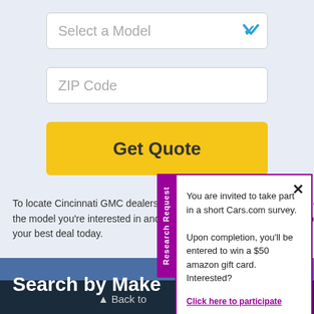Select a Model
ZIP Code
Get Quote
To locate Cincinnati GMC dealers and get pricing on new GMC vehicles, select the model you're interested in and enter your ZIP code. Compare quotes to get your best deal today.
Search by Make
▲ Back to top
Research Request
You are invited to take part in a short Cars.com survey.

Upon completion, you'll be entered to win a $50 amazon gift card. Interested?
Click here to participate